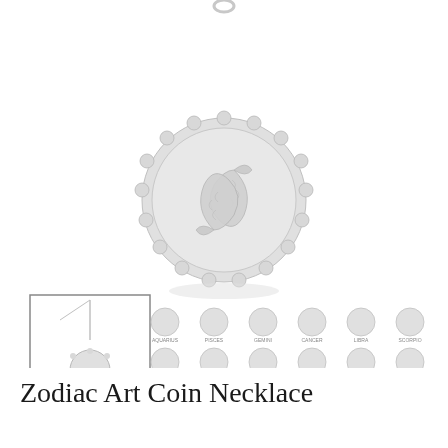[Figure (photo): Product image showing a silver zodiac Pisces coin necklace pendant close-up at top, with a thumbnail gallery below showing the necklace on a chain and 12 zodiac coin variants labeled: Aquarius, Pisces, Gemini, Cancer, Libra, Scorpio, Aries, Taurus, Leo, Virgo, Sagittarius, Capricorn]
Zodiac Art Coin Necklace